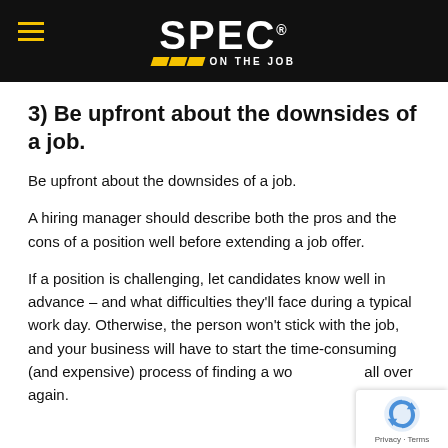SPEC® ON THE JOB
3) Be upfront about the downsides of a job.
Be upfront about the downsides of a job.
A hiring manager should describe both the pros and the cons of a position well before extending a job offer.
If a position is challenging, let candidates know well in advance – and what difficulties they'll face during a typical work day. Otherwise, the person won't stick with the job, and your business will have to start the time-consuming (and expensive) process of finding a worker all over again.